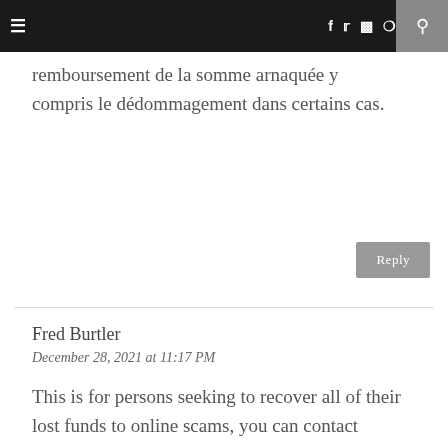≡  f  t  ◻  ⊕  ♥  g+  🔍
remboursement de la somme arnaquée y compris le dédommagement dans certains cas.
Reply
Fred Burtler
December 28, 2021 at 11:17 PM
This is for persons seeking to recover all of their lost funds to online scams, you can contact Schwartz Software via the address-->